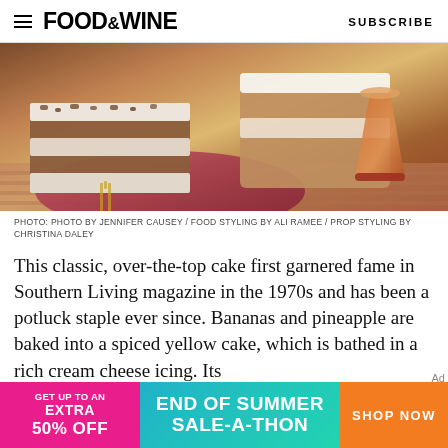FOOD&WINE  SUBSCRIBE
[Figure (photo): A close-up food photo showing slices of layered cake with cream cheese icing on a pink/red plate with a fork, and a glass of amber liquid (tea or juice) in the background, on a striped surface.]
PHOTO: PHOTO BY JENNIFER CAUSEY / FOOD STYLING BY ALI RAMEE / PROP STYLING BY CHRISTINA DALEY
This classic, over-the-top cake first garnered fame in Southern Living magazine in the 1970s and has been a potluck staple ever since. Bananas and pineapple are baked into a spiced yellow cake, which is bathed in a rich cream cheese icing. Its
[Figure (screenshot): Advertisement banner: pink left section reads GET UP TO AN EXTRA 50% OFF, teal/turquoise middle reads END OF SUMMER SALE-A-THON, orange right section reads SHOP NOW]